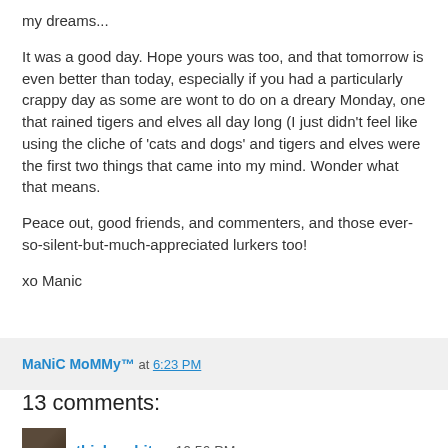my dreams...
It was a good day. Hope yours was too, and that tomorrow is even better than today, especially if you had a particularly crappy day as some are wont to do on a dreary Monday, one that rained tigers and elves all day long (I just didn't feel like using the cliche of 'cats and dogs' and tigers and elves were the first two things that came into my mind. Wonder what that means.
Peace out, good friends, and commenters, and those ever-so-silent-but-much-appreciated lurkers too!
xo Manic
MaNiC MoMMy™ at 6:23 PM
13 comments:
thisbearbites  10:56 PM